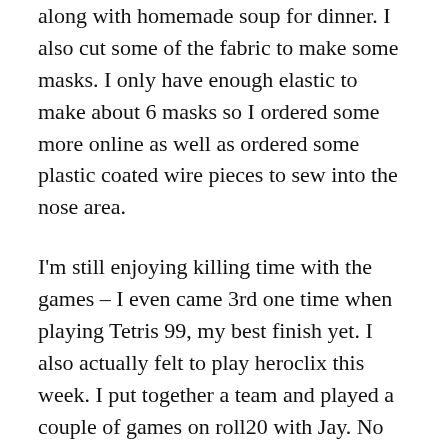along with homemade soup for dinner. I also cut some of the fabric to make some masks. I only have enough elastic to make about 6 masks so I ordered some more online as well as ordered some plastic coated wire pieces to sew into the nose area.
I'm still enjoying killing time with the games – I even came 3rd one time when playing Tetris 99, my best finish yet. I also actually felt to play heroclix this week. I put together a team and played a couple of games on roll20 with Jay. No time limit, just getting to know the pieces. I think I need to make a change to it because it's really missing having Leadership on it. But it was nice to just chat and play for a few hours with no high expectations. We had some random drop ins in the room too which was nice